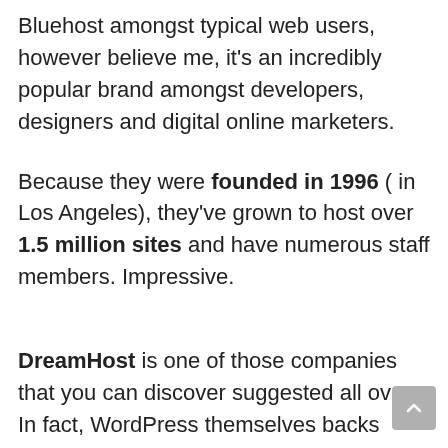Bluehost amongst typical web users, however believe me, it's an incredibly popular brand amongst developers, designers and digital online marketers.
Because they were founded in 1996 ( in Los Angeles), they've grown to host over 1.5 million sites and have numerous staff members. Impressive.
DreamHost is one of those companies that you can discover suggested all over. In fact, WordPress themselves backs them – however I'm uncertain how seriously I 'd take this recommendation, as while they display SiteGround as an alternative (which we authorize), they likewise recommend Bluehost, which is a much more questionable choice.